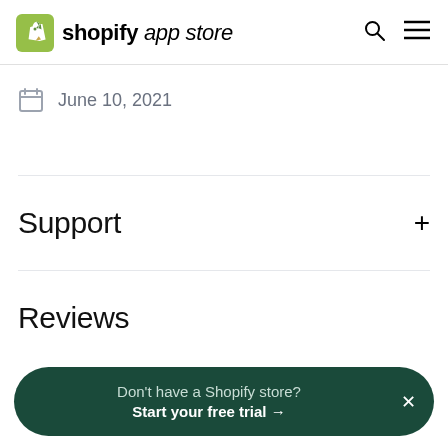shopify app store
June 10, 2021
Support
Reviews
Don't have a Shopify store? Start your free trial →